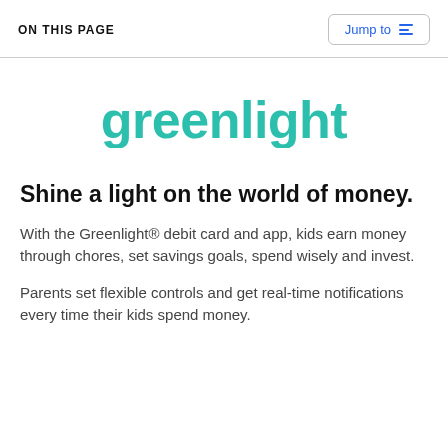ON THIS PAGE
[Figure (logo): Greenlight logo in teal/turquoise color, stylized lowercase lettering]
Shine a light on the world of money.
With the Greenlight® debit card and app, kids earn money through chores, set savings goals, spend wisely and invest.
Parents set flexible controls and get real-time notifications every time their kids spend money.